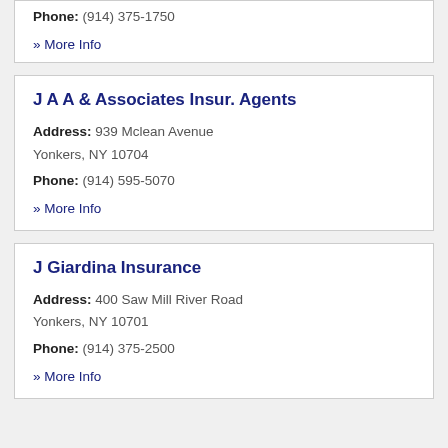Phone: (914) 375-1750
» More Info
J A A & Associates Insur. Agents
Address: 939 Mclean Avenue Yonkers, NY 10704
Phone: (914) 595-5070
» More Info
J Giardina Insurance
Address: 400 Saw Mill River Road Yonkers, NY 10701
Phone: (914) 375-2500
» More Info